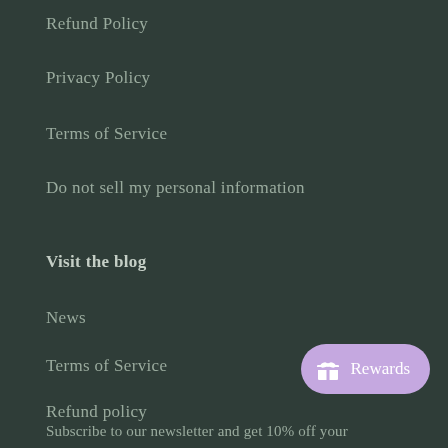Refund Policy
Privacy Policy
Terms of Service
Do not sell my personal information
Visit the blog
News
Terms of Service
Refund policy
[Figure (other): Purple rewards button with gift box icon and text 'Rewards']
Subscribe to our newsletter and get 10% off your